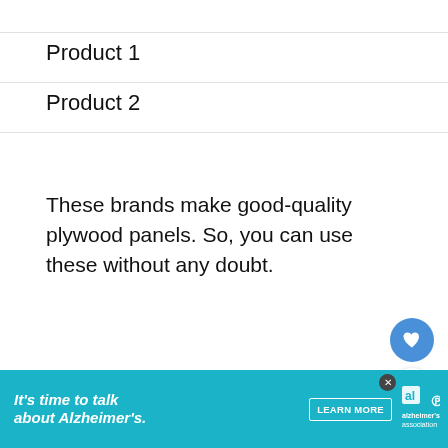Product 1
Product 2
These brands make good-quality plywood panels. So, you can use these without any doubt.
How To Install Subfloor Using Particle Board
If you're still interested in using particle board as… (containing a
[Figure (infographic): Advertisement banner: It's time to talk about Alzheimer's. with LEARN MORE button and Alzheimer's Association logo]
[Figure (infographic): WHAT'S NEXT arrow with Electric Pump For Sand... thumbnail and text]